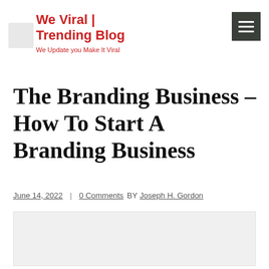We Viral | Trending Blog
We Update you Make It Viral
The Branding Business – How To Start A Branding Business
June 14, 2022 | 0 Comments BY Joseph H. Gordon
[Figure (photo): Article featured image placeholder (light gray rectangle)]